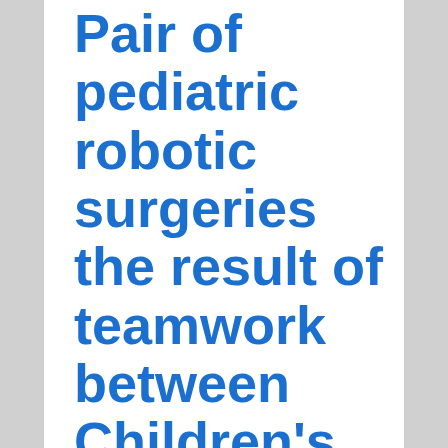Pair of pediatric robotic surgeries the result of teamwork between Children's Mercy, KU